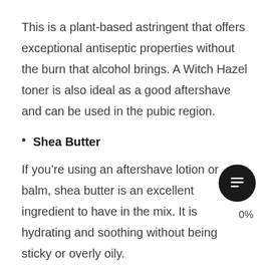This is a plant-based astringent that offers exceptional antiseptic properties without the burn that alcohol brings. A Witch Hazel toner is also ideal as a good aftershave and can be used in the pubic region.
Shea Butter
If you’re using an aftershave lotion or balm, shea butter is an excellent ingredient to have in the mix. It is hydrating and soothing without being sticky or overly oily.